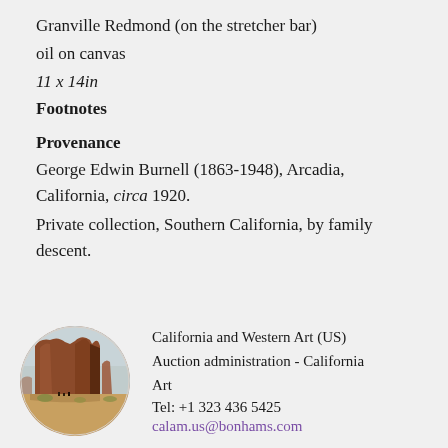Granville Redmond (on the stretcher bar)
oil on canvas
11 x 14in
Footnotes
Provenance
George Edwin Burnell (1863-1948), Arcadia, California, circa 1920.
Private collection, Southern California, by family descent.
[Figure (illustration): Circular thumbnail image of a Western landscape painting showing a large red rock mesa formation against a pale sky, with small figures at the base.]
California and Western Art (US)
Auction administration - California Art
Tel: +1 323 436 5425
calam.us@bonhams.com